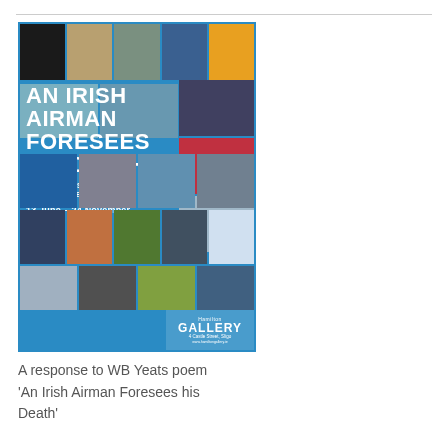[Figure (illustration): Exhibition poster for 'An Irish Airman Foresees His Death' at Hamilton Gallery, Sligo. Blue background with grid of 101 Irish artists' artwork images. Text reads: AN IRISH AIRMAN FORESEES HIS DEATH, 101 IRISH ARTISTS RESPOND TO THE POEM BY W. B. YEATS, 13 June - 24 November. Hamilton Gallery, 4 Castle Street, Sligo.]
A response to WB Yeats poem 'An Irish Airman Foresees his Death'